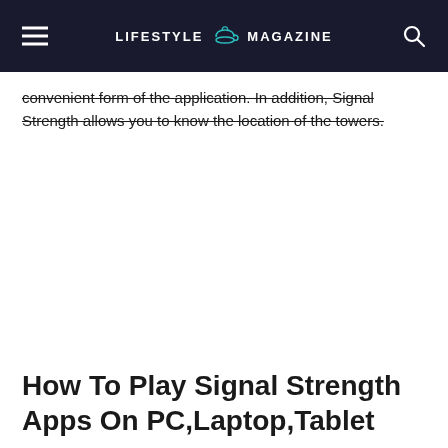LIFESTYLE MAGAZINE
convenient form of the application. In addition, Signal Strength allows you to know the location of the towers.
How To Play Signal Strength Apps On PC,Laptop,Tablet